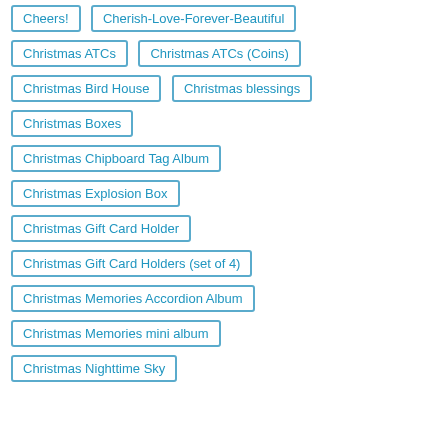Cheers!
Cherish-Love-Forever-Beautiful
Christmas ATCs
Christmas ATCs (Coins)
Christmas Bird House
Christmas blessings
Christmas Boxes
Christmas Chipboard Tag Album
Christmas Explosion Box
Christmas Gift Card Holder
Christmas Gift Card Holders (set of 4)
Christmas Memories Accordion Album
Christmas Memories mini album
Christmas Nighttime Sky